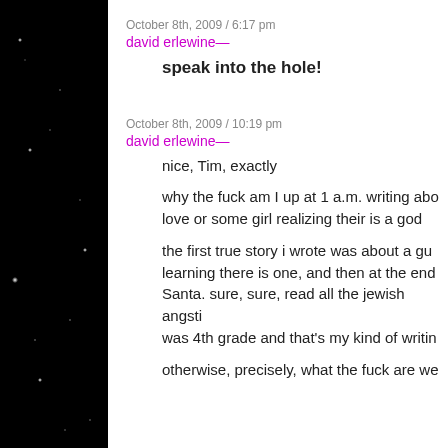October 8th, 2009 / 6:17 pm
david erlewine—
speak into the hole!
October 8th, 2009 / 10:19 pm
david erlewine—
nice, Tim, exactly
why the fuck am I up at 1 a.m. writing about love or some girl realizing their is a god
the first true story i wrote was about a guy learning there is one, and then at the end, Santa. sure, sure, read all the jewish angsti was 4th grade and that's my kind of writin
otherwise, precisely, what the fuck are we